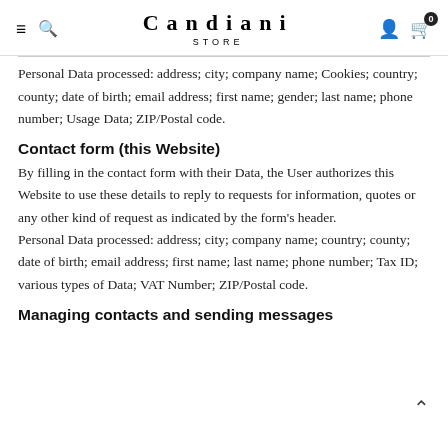Candiani STORE
Personal Data processed: address; city; company name; Cookies; country; county; date of birth; email address; first name; gender; last name; phone number; Usage Data; ZIP/Postal code.
Contact form (this Website)
By filling in the contact form with their Data, the User authorizes this Website to use these details to reply to requests for information, quotes or any other kind of request as indicated by the form's header.
Personal Data processed: address; city; company name; country; county; date of birth; email address; first name; last name; phone number; Tax ID; various types of Data; VAT Number; ZIP/Postal code.
Managing contacts and sending messages